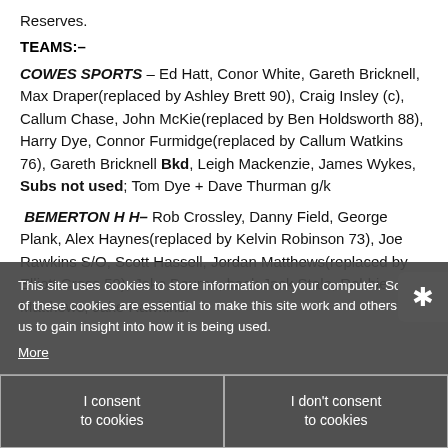Reserves.
TEAMS:–
COWES SPORTS – Ed Hatt, Conor White, Gareth Bricknell, Max Draper(replaced by Ashley Brett 90), Craig Insley (c), Callum Chase, John McKie(replaced by Ben Holdsworth 88), Harry Dye, Connor Furmidge(replaced by Callum Watkins 76), Gareth Bricknell Bkd, Leigh Mackenzie, James Wykes, Subs not used; Tom Dye + Dave Thurman g/k
BEMERTON H H– Rob Crossley, Danny Field, George Plank, Alex Haynes(replaced by Kelvin Robinson 73), Joe Rawkins S/O, Scott Hassell, Jordan Matthews(replaced by Elliott Cross 59), Jake Bourne, back Jack Stale, Robbie Matthews, Jake Rawkins.
This site uses cookies to store information on your computer. Some of these cookies are essential to make this site work and others help us to gain insight into how it is being used.
More
I consent to cookies | I don't consent to cookies